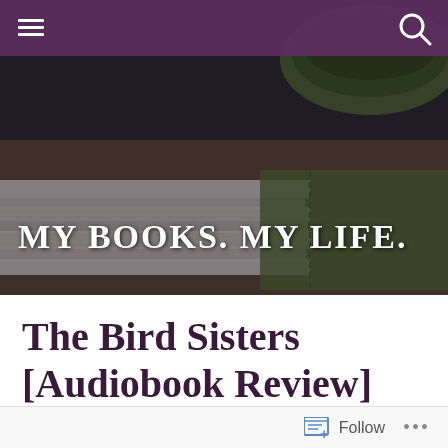MY BOOKS. MY LIFE.
[Figure (photo): Hero banner image showing stacked open books and a green coffee cup on a wooden table, with dark overlay. Site title 'MY BOOKS. MY LIFE.' displayed in white serif text over the image.]
The Bird Sisters [Audiobook Review]
November 2, 2012   Michelle
Follow